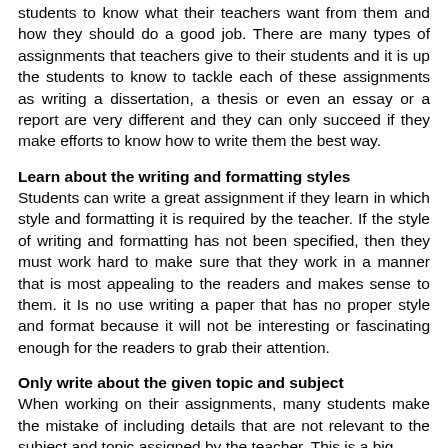students to know what their teachers want from them and how they should do a good job. There are many types of assignments that teachers give to their students and it is up the students to know to tackle each of these assignments as writing a dissertation, a thesis or even an essay or a report are very different and they can only succeed if they make efforts to know how to write them the best way.
Learn about the writing and formatting styles
Students can write a great assignment if they learn in which style and formatting it is required by the teacher. If the style of writing and formatting has not been specified, then they must work hard to make sure that they work in a manner that is most appealing to the readers and makes sense to them. it Is no use writing a paper that has no proper style and format because it will not be interesting or fascinating enough for the readers to grab their attention.
Only write about the given topic and subject
When working on their assignments, many students make the mistake of including details that are not relevant to the subject and topic assigned by the teacher. This is a big